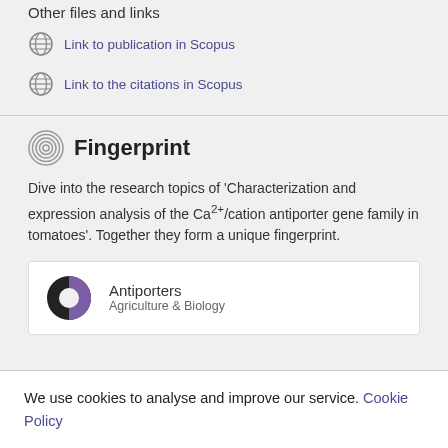Other files and links
Link to publication in Scopus
Link to the citations in Scopus
Fingerprint
Dive into the research topics of 'Characterization and expression analysis of the Ca²⁺/cation antiporter gene family in tomatoes'. Together they form a unique fingerprint.
Antiporters
Agriculture & Biology
We use cookies to analyse and improve our service. Cookie Policy